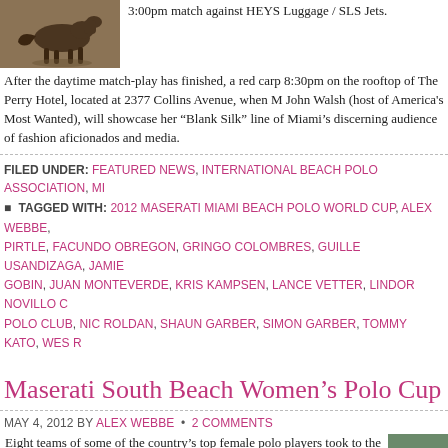[Figure (photo): A horse and rider in action at a polo match]
3:00pm match against HEYS Luggage / SLS Jets.
After the daytime match-play has finished, a red carp 8:30pm on the rooftop of The Perry Hotel, located at 2377 Collins Avenue, when M John Walsh (host of America's Most Wanted), will showcase her "Blank Silk" line of Miami's discerning audience of fashion aficionados and media.
FILED UNDER: FEATURED NEWS, INTERNATIONAL BEACH POLO ASSOCIATION, MI
TAGGED WITH: 2012 MASERATI MIAMI BEACH POLO WORLD CUP, ALEX WEBBE, PIRTLE, FACUNDO OBREGON, GRINGO COLOMBRES, GUILLE USANDIZAGA, JAMIE GOBIN, JUAN MONTEVERDE, KRIS KAMPSEN, LANCE VETTER, LINDOR NOVILLO C POLO CLUB, NIC ROLDAN, SHAUN GARBER, SIMON GARBER, TOMMY KATO, WES R
Maserati South Beach Women's Polo Cup
MAY 4, 2012 BY ALEX WEBBE • 2 COMMENTS
Eight teams of some the country's top female polo players took to the sands of South Beach on Thursday, April 26th to compete in the opening day of the eighth annual Maserati Miami Beach Polo World Cup. Day one brought the Maserati South Beach Women's Polo Cup to an ecstatic audience of Polo enthusiasts. The title was taken by the HEYS USA team of Cecelia Cochran, Diana Jack and Alicia Harden, who took top honors with a hard fought 3-1
[Figure (photo): Polo action photo thumbnail]